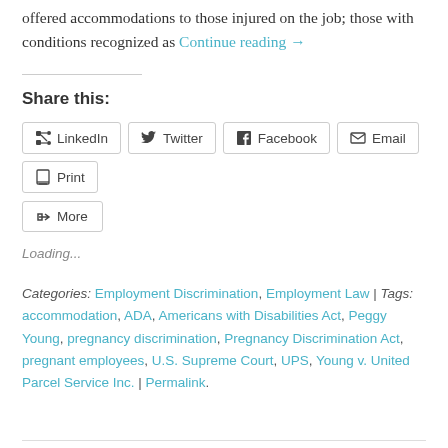offered accommodations to those injured on the job; those with conditions recognized as Continue reading →
Share this:
LinkedIn  Twitter  Facebook  Email  Print  More
Loading...
Categories: Employment Discrimination, Employment Law | Tags: accommodation, ADA, Americans with Disabilities Act, Peggy Young, pregnancy discrimination, Pregnancy Discrimination Act, pregnant employees, U.S. Supreme Court, UPS, Young v. United Parcel Service Inc. | Permalink.